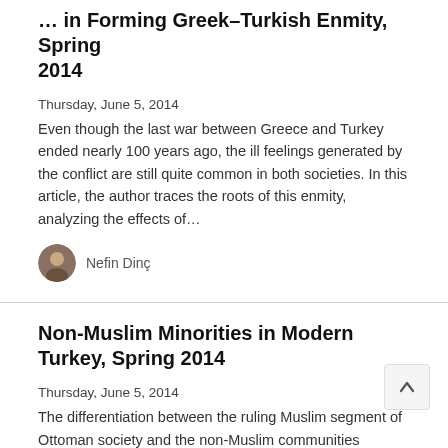... [partial title] ...Spring 2014
Thursday, June 5, 2014
Even though the last war between Greece and Turkey ended nearly 100 years ago, the ill feelings generated by the conflict are still quite common in both societies. In this article, the author traces the roots of this enmity, analyzing the effects of...
Nefin Dinç
Non-Muslim Minorities in Modern Turkey, Spring 2014
Thursday, June 5, 2014
The differentiation between the ruling Muslim segment of Ottoman society and the non-Muslim communities marked the de facto social and political –albeit not economic– marginalization of the latter in the Empire. This marginalization...
Laki Vingas